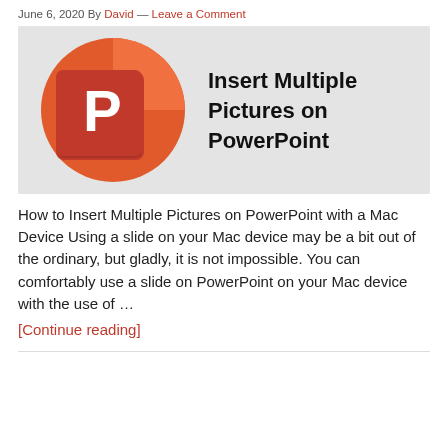June 6, 2020 By David — Leave a Comment
[Figure (illustration): PowerPoint logo (orange circle with P icon) next to bold text reading 'Insert Multiple Pictures on PowerPoint' on a light grey background]
How to Insert Multiple Pictures on PowerPoint with a Mac Device Using a slide on your Mac device may be a bit out of the ordinary, but gladly, it is not impossible. You can comfortably use a slide on PowerPoint on your Mac device with the use of …
[Continue reading]